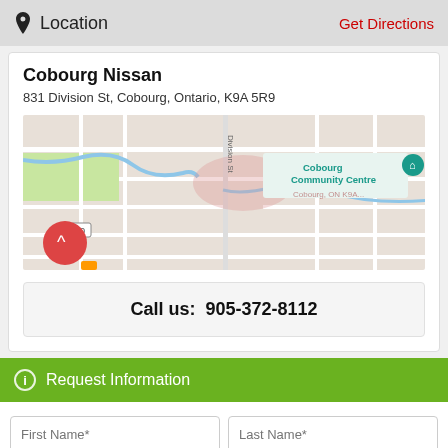Location | Get Directions
Cobourg Nissan
831 Division St, Cobourg, Ontario, K9A 5R9
[Figure (map): Google Maps showing area around 831 Division St, Cobourg, Ontario with Cobourg Community Centre visible]
Call us:  905-372-8112
Request Information
First Name*
Last Name*
Email Address